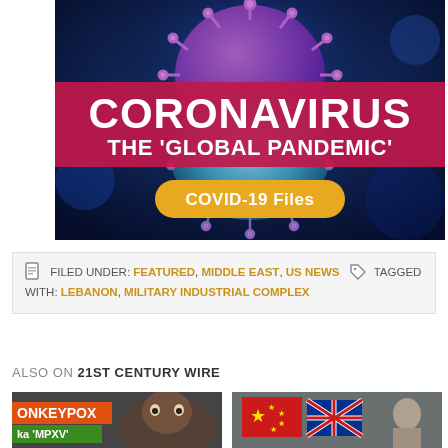[Figure (illustration): Coronavirus 'The Global Pandemic' banner with COVID-19 Files button. Dark blue background with 3D coronavirus cell image. Red/pink band with white bold text 'CORONAVIRUS THE GLOBAL PANDEMIC'. Yellow oval button with bold white text 'COVID-19 Files'.]
FILED UNDER: FEATURED, MIDDLE EAST, US NEWS   TAGGED WITH: LEBANON, MILITARY INDUSTRIAL COMPLEX
ALSO ON 21ST CENTURY WIRE
[Figure (photo): Thumbnail image with orange and green banner text 'MONKEYPOX aka MPXV' and a monkey in the background]
[Figure (photo): Thumbnail image showing flags of China and other nations with a person partially visible]